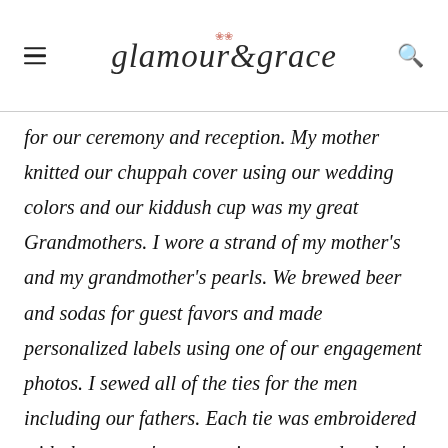glamour & grace
for our ceremony and reception. My mother knitted our chuppah cover using our wedding colors and our kiddush cup was my great Grandmothers. I wore a strand of my mother's and my grandmother's pearls. We brewed beer and sodas for guest favors and made personalized labels using one of our engagement photos. I sewed all of the ties for the men including our fathers. Each tie was embroidered with the wearer's name using my grandmother's sewing machine. I cut out decorative circles of paisley fabric for each of the guest tables as a less expensive way to jazz up the linens. We